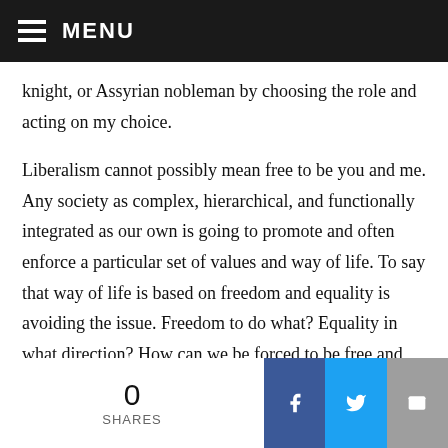MENU
knight, or Assyrian nobleman by choosing the role and acting on my choice.

Liberalism cannot possibly mean free to be you and me. Any society as complex, hierarchical, and functionally integrated as our own is going to promote and often enforce a particular set of values and way of life. To say that way of life is based on freedom and equality is avoiding the issue. Freedom to do what? Equality in what direction? How can we be forced to be free and equal, and by whom? And are the people who do the forcing our
0 SHARES